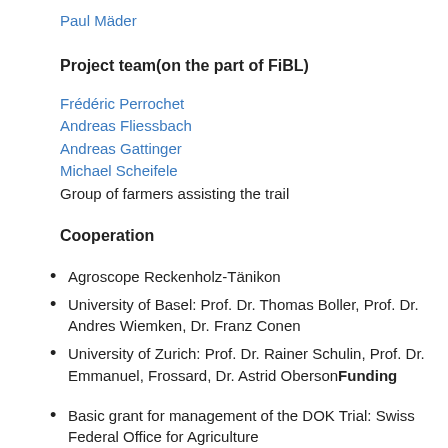Paul Mäder
Project team(on the part of FiBL)
Frédéric Perrochet
Andreas Fliessbach
Andreas Gattinger
Michael Scheifele
Group of farmers assisting the trail
Cooperation
Agroscope Reckenholz-Tänikon
University of Basel: Prof. Dr. Thomas Boller, Prof. Dr. Andres Wiemken, Dr. Franz Conen
University of Zurich: Prof. Dr. Rainer Schulin, Prof. Dr. Emmanuel, Frossard, Dr. Astrid ObersonFunding
Basic grant for management of the DOK Trial: Swiss Federal Office for Agriculture